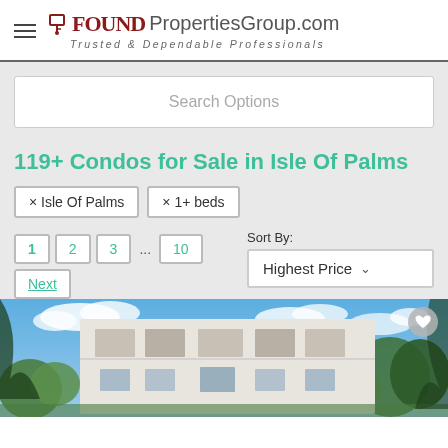FoundPropertiesGroup.com — Trusted & Dependable Professionals
Search Options
119+ Condos for Sale in Isle Of Palms
× Isle Of Palms
× 1+ beds
Sort By: Highest Price
1  2  3  ...  10  Next
[Figure (photo): Exterior photo of a white multi-story luxury condominium building with palm trees and blue sky background.]